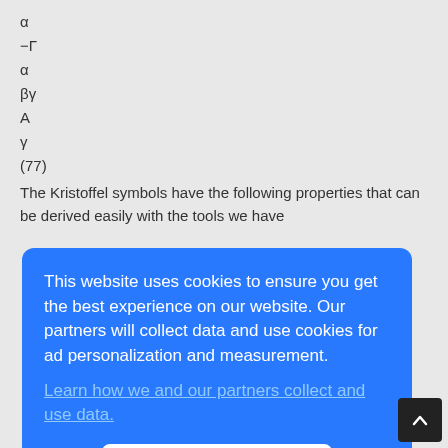The Kristoffel symbols have the following properties that can be derived easily with the tools we have
This website uses cookies to ensure you get the best experience on our website. Our partners will collect data and use cookies for ad personalization and measurement. Learn how we and our partners collect and use data.
OK